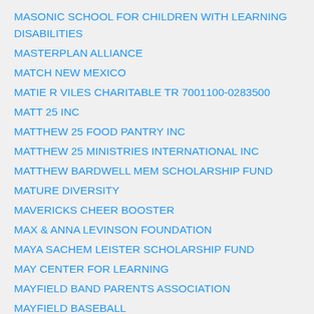MASONIC SCHOOL FOR CHILDREN WITH LEARNING DISABILITIES
MASTERPLAN ALLIANCE
MATCH NEW MEXICO
MATIE R VILES CHARITABLE TR 7001100-0283500
MATT 25 INC
MATTHEW 25 FOOD PANTRY INC
MATTHEW 25 MINISTRIES INTERNATIONAL INC
MATTHEW BARDWELL MEM SCHOLARSHIP FUND
MATURE DIVERSITY
MAVERICKS CHEER BOOSTER
MAX & ANNA LEVINSON FOUNDATION
MAYA SACHEM LEISTER SCHOLARSHIP FUND
MAY CENTER FOR LEARNING
MAYFIELD BAND PARENTS ASSOCIATION
MAYFIELD BASEBALL